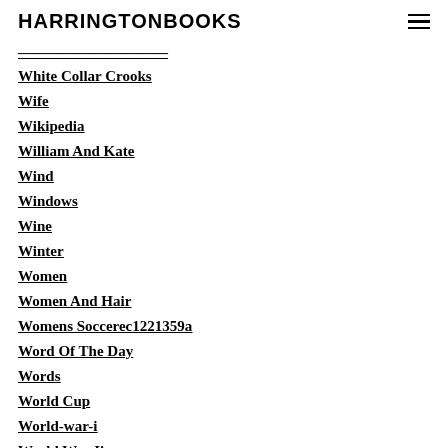HARRINGTONBOOKS
White Collar Crooks
Wife
Wikipedia
William And Kate
Wind
Windows
Wine
Winter
Women
Women And Hair
Womens Soccerec1221359a
Word Of The Day
Words
World Cup
World-war-i
World War Ii